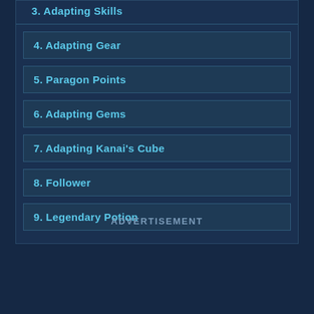3. Adapting Skills
4. Adapting Gear
5. Paragon Points
6. Adapting Gems
7. Adapting Kanai's Cube
8. Follower
9. Legendary Potion
ADVERTISEMENT